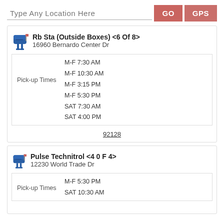Type Any Location Here
Rb Sta (Outside Boxes) <6 Of 8>
16960 Bernardo Center Dr
| Pick-up Times | Schedule |
| --- | --- |
| Pick-up Times | M-F 7:30 AM |
|  | M-F 10:30 AM |
|  | M-F 3:15 PM |
|  | M-F 5:30 PM |
|  | SAT 7:30 AM |
|  | SAT 4:00 PM |
92128
Pulse Technitrol <4 0 F 4>
12230 World Trade Dr
| Pick-up Times | Schedule |
| --- | --- |
| Pick-up Times | M-F 5:30 PM |
|  | SAT 10:30 AM |